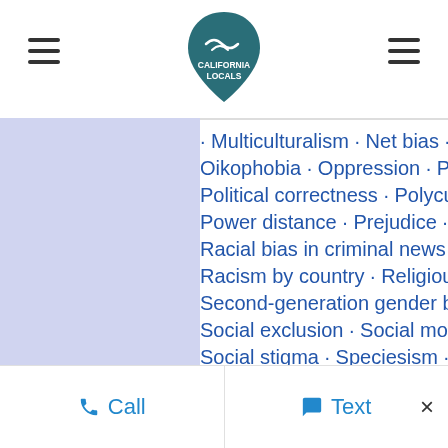California Locals logo with navigation hamburger menus
· Multiculturalism · Net bias · Neuro... Oikophobia · Oppression · Police b... Political correctness · Polycultura... Power distance · Prejudice · Priso... Racial bias in criminal news in the... Racism by country · Religious into... Second-generation gender bias · S... Social exclusion · Social model of... Social stigma · Speciesism · Stere... threat · · The talk · White privilege ·
Call   Text   ×